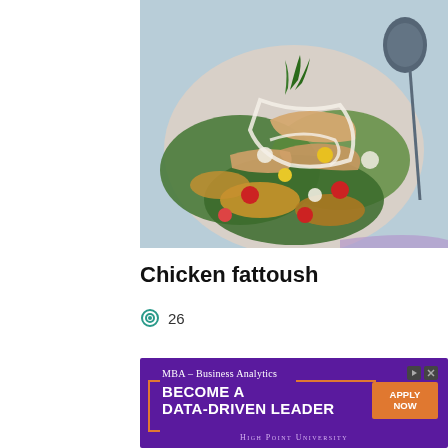[Figure (photo): Overhead view of a chicken fattoush salad on a plate with colorful vegetables, lettuce, tomatoes, pita chips, fresh herbs, and a creamy dressing drizzled on top. A spoon is visible in the top right.]
Chicken fattoush
26
[Figure (other): Advertisement for High Point University MBA Business Analytics program. Purple background with orange accents. Text: MBA – Business Analytics, BECOME A DATA-DRIVEN LEADER, APPLY NOW button, HIGH POINT UNIVERSITY.]